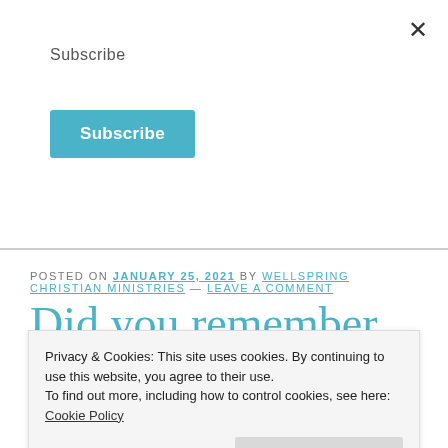Subscribe
Subscribe
POSTED ON JANUARY 25, 2021 by Wellspring Christian Ministries — Leave a comment
Did you remember to read your Bible?
Privacy & Cookies: This site uses cookies. By continuing to use this website, you agree to their use.
To find out more, including how to control cookies, see here: Cookie Policy
Close and accept